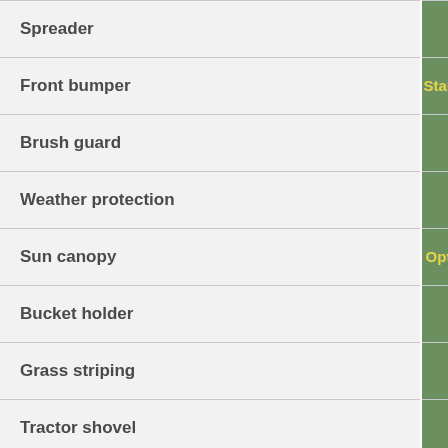| Feature | Value |
| --- | --- |
| Spreader |  |
| Front bumper | Standard |
| Brush guard |  |
| Weather protection |  |
| Sun canopy | Optional |
| Bucket holder |  |
| Grass striping |  |
| Tractor shovel |  |
| Tow-behind tools |  |
|  |  |
|  |  |